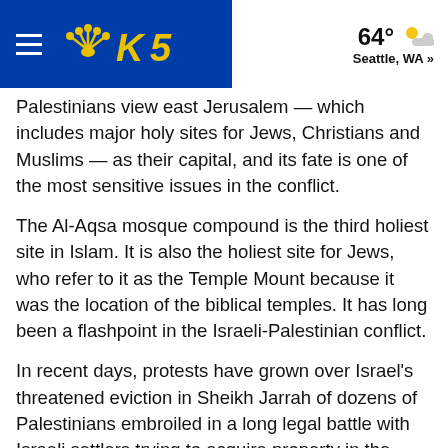KING5 — 64° Seattle, WA »
Palestinians view east Jerusalem — which includes major holy sites for Jews, Christians and Muslims — as their capital, and its fate is one of the most sensitive issues in the conflict.
The Al-Aqsa mosque compound is the third holiest site in Islam. It is also the holiest site for Jews, who refer to it as the Temple Mount because it was the location of the biblical temples. It has long been a flashpoint in the Israeli-Palestinian conflict.
In recent days, protests have grown over Israel's threatened eviction in Sheikh Jarrah of dozens of Palestinians embroiled in a long legal battle with Israeli settlers trying to acquire property in the neighborhood.
The United States said it was “deeply concerned” about both the violence and the threatened evictions. The so-called Quartet of Mideast peace makers, which includes the U.S., European Union, Russia and United Nations…